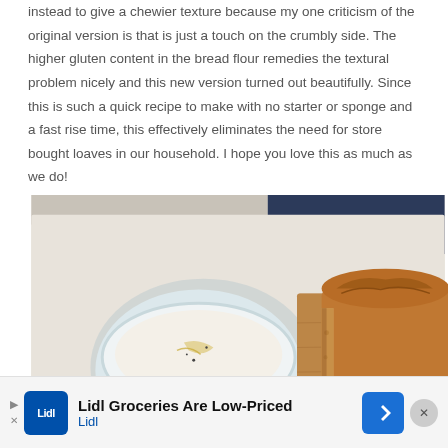instead to give a chewier texture because my one criticism of the original version is that is just a touch on the crumbly side. The higher gluten content in the bread flour remedies the textural problem nicely and this new version turned out beautifully. Since this is such a quick recipe to make with no starter or sponge and a fast rise time, this effectively eliminates the need for store bought loaves in our household. I hope you love this as much as we do!
[Figure (photo): Photo of a loaf of bread cut open showing interior crumb texture, placed on a wooden cutting board, alongside a white bowl with olive oil and pepper, and a slice of toasted bread in the foreground.]
Lidl Groceries Are Low-Priced | Lidl